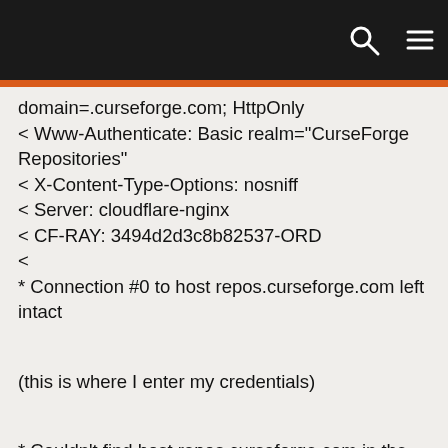[navigation bar with search and menu icons]
domain=.curseforge.com; HttpOnly
< Www-Authenticate: Basic realm="CurseForge Repositories"
< X-Content-Type-Options: nosniff
< Server: cloudflare-nginx
< CF-RAY: 3494d2d3c8b82537-ORD
<
* Connection #0 to host repos.curseforge.com left intact
(this is where I enter my credentials)
* Couldn't find host repos.curseforge.com in the _netrc file; using defaults
* Found bundle for host repos.curseforge.com: 0x17398d0 [can pipeline]
* Re-using existing connection! (#0) with host repos.curseforge.com